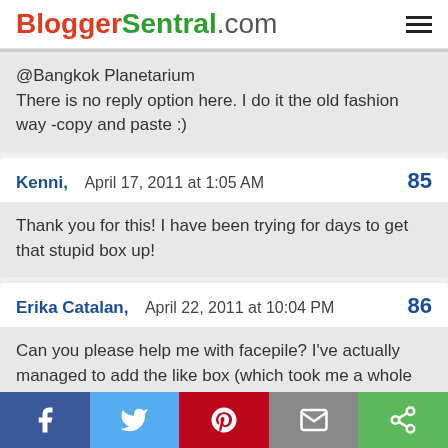BloggerSentral.com
@Bangkok Planetarium
There is no reply option here. I do it the old fashion way -copy and paste :)
Kenni,  April 17, 2011 at 1:05 AM  85
Thank you for this! I have been trying for days to get that stupid box up!
Erika Catalan,  April 22, 2011 at 10:04 PM  86
Can you please help me with facepile? I've actually managed to add the like box (which took me a whole day) but I seem to have trouble with facepile.